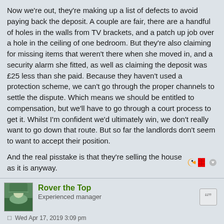Now we're out, they're making up a list of defects to avoid paying back the deposit. A couple are fair, there are a handful of holes in the walls from TV brackets, and a patch up job over a hole in the ceiling of one bedroom. But they're also claiming for missing items that weren't there when she moved in, and a security alarm she fitted, as well as claiming the deposit was £25 less than she paid. Because they haven't used a protection scheme, we can't go through the proper channels to settle the dispute. Which means we should be entitled to compensation, but we'll have to go through a court process to get it. Whilst I'm confident we'd ultimately win, we don't really want to go down that route. But so far the landlords don't seem to want to accept their position.
And the real pisstake is that they're selling the house as it is anyway.
Rover the Top
Experienced manager
Wed Apr 17, 2019 3:09 pm
Their latest response claims the tenancy dates back before the deposit schemes started (it doesn't, it started two months after and was renewed a year later.). They're asking us to provide photographic evidence that we didn't remove skirting boards and a piece of the fireplace. And they're making a thinly veiled threat saying the house was rented to a single mum